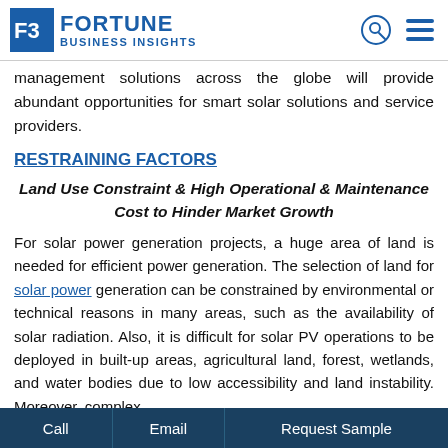FORTUNE BUSINESS INSIGHTS
management solutions across the globe will provide abundant opportunities for smart solar solutions and service providers.
RESTRAINING FACTORS
Land Use Constraint & High Operational & Maintenance Cost to Hinder Market Growth
For solar power generation projects, a huge area of land is needed for efficient power generation. The selection of land for solar power generation can be constrained by environmental or technical reasons in many areas, such as the availability of solar radiation. Also, it is difficult for solar PV operations to be deployed in built-up areas, agricultural land, forest, wetlands, and water bodies due to low accessibility and land instability. Moreover, complex
Call  Email  Request Sample